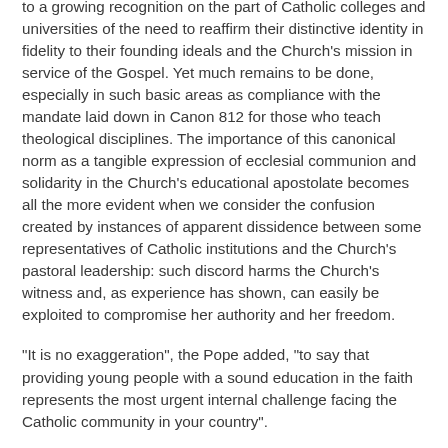to a growing recognition on the part of Catholic colleges and universities of the need to reaffirm their distinctive identity in fidelity to their founding ideals and the Church's mission in service of the Gospel. Yet much remains to be done, especially in such basic areas as compliance with the mandate laid down in Canon 812 for those who teach theological disciplines. The importance of this canonical norm as a tangible expression of ecclesial communion and solidarity in the Church's educational apostolate becomes all the more evident when we consider the confusion created by instances of apparent dissidence between some representatives of Catholic institutions and the Church's pastoral leadership: such discord harms the Church's witness and, as experience has shown, can easily be exploited to compromise her authority and her freedom.
"It is no exaggeration", the Pope added, "to say that providing young people with a sound education in the faith represents the most urgent internal challenge facing the Catholic community in your country".
"First, as we know, the essential task of authentic education and...